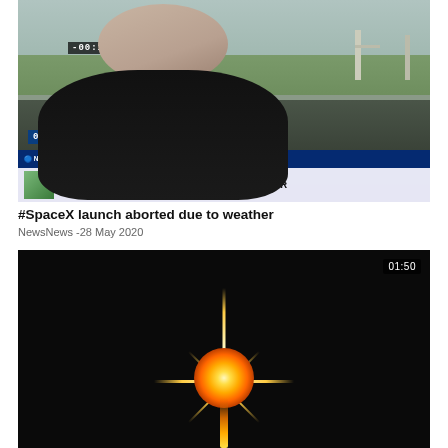[Figure (screenshot): News broadcast screenshot showing a reporter standing outdoors near a launch site. Countdown timer shows -00:15:54 at top and 00:15:53 at bottom left. ABC News ticker reads: NEWS • LAUNCH AMERICA • MISSION TO SPACE LIVE / SPACEX LAUNCH DELAYED DUE TO WEATHER]
#SpaceX launch aborted due to weather
NewsNews -28 May 2020
[Figure (photo): Night-time photo of a rocket launch showing a bright star-like flare of light against a dark black sky. Duration badge shows 01:50.]